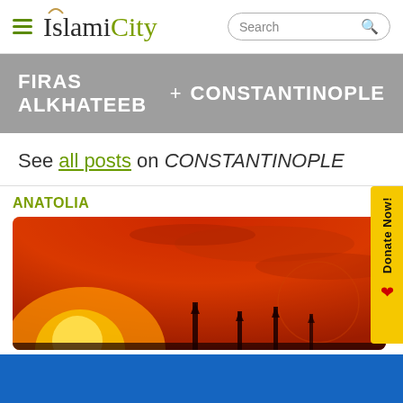IslamiCity — Search bar header
FIRAS ALKHATEEB + CONSTANTINOPLE
See all posts on CONSTANTINOPLE
ANATOLIA
[Figure (photo): Orange-red sunset sky with silhouettes of minarets against a dramatic fiery sky in Anatolia]
Donate Now!